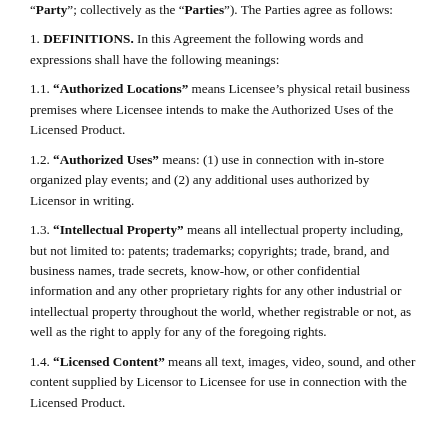“Party”; collectively as the “Parties”). The Parties agree as follows:
1. DEFINITIONS. In this Agreement the following words and expressions shall have the following meanings:
1.1. “Authorized Locations” means Licensee’s physical retail business premises where Licensee intends to make the Authorized Uses of the Licensed Product.
1.2. “Authorized Uses” means: (1) use in connection with in-store organized play events; and (2) any additional uses authorized by Licensor in writing.
1.3. “Intellectual Property” means all intellectual property including, but not limited to: patents; trademarks; copyrights; trade, brand, and business names, trade secrets, know-how, or other confidential information and any other proprietary rights for any other industrial or intellectual property throughout the world, whether registrable or not, as well as the right to apply for any of the foregoing rights.
1.4. “Licensed Content” means all text, images, video, sound, and other content supplied by Licensor to Licensee for use in connection with the Licensed Product.